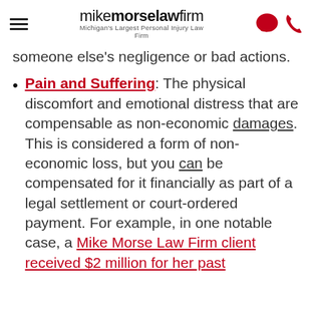mike morse law firm — Michigan's Largest Personal Injury Law Firm
someone else's negligence or bad actions.
Pain and Suffering: The physical discomfort and emotional distress that are compensable as non-economic damages. This is considered a form of non-economic loss, but you can be compensated for it financially as part of a legal settlement or court-ordered payment. For example, in one notable case, a Mike Morse Law Firm client received $2 million for her past